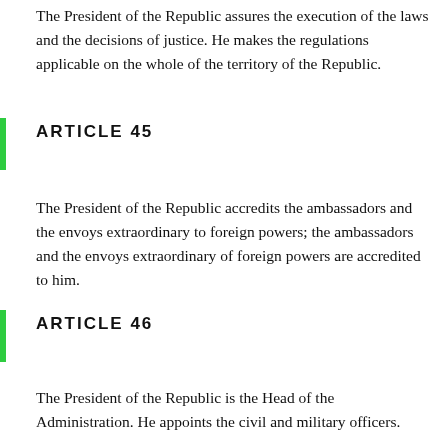The President of the Republic assures the execution of the laws and the decisions of justice. He makes the regulations applicable on the whole of the territory of the Republic.
ARTICLE 45
The President of the Republic accredits the ambassadors and the envoys extraordinary to foreign powers; the ambassadors and the envoys extraordinary of foreign powers are accredited to him.
ARTICLE 46
The President of the Republic is the Head of the Administration. He appoints the civil and military officers.
ARTICLE 47
The President of the Republic is the Supreme Head of the Armies. He presides over the Superior Council of Defense.
ARTICLE 48